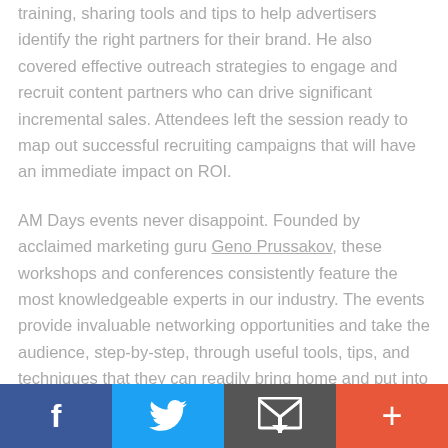training, sharing tools and tips to help advertisers identify the right partners for their brand. He also covered effective outreach strategies to engage and recruit content partners who can drive significant incremental sales. Attendees left the session ready to map out successful recruiting campaigns that will have an immediate impact on ROI.
AM Days events never disappoint. Founded by acclaimed marketing guru Geno Prussakov, these workshops and conferences consistently feature the most knowledgeable experts in our industry. The events provide invaluable networking opportunities and take the audience, step-by-step, through useful tools, tips, and techniques that they can readily bring home and put into action. The AM Days events
[Figure (other): Social sharing bar with four buttons: Facebook (blue), Twitter (light blue), Email/share (dark gray), and Add/plus (orange-red)]